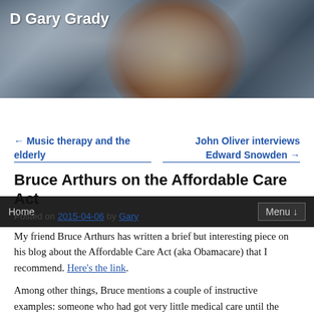D Gary Grady
[Figure (photo): Blog header banner with nebula/space background image showing clouds and a brownish-orange celestial object]
Home | Menu ↓
← Music therapy and the elderly
John Oliver interviews Edward Snowden →
Bruce Arthurs on the Affordable Care Act
Posted on 2015-04-06 by Gary
My friend Bruce Arthurs has written a brief but interesting piece on his blog about the Affordable Care Act (aka Obamacare) that I recommend. Here's the link.
Among other things, Bruce mentions a couple of instructive examples: someone who had got very little medical care until the ACA came along, and someone else who initially thought an ACA policy would be unaffordable until an ACA counselor pointed out a mistake the person had made on the application, so that